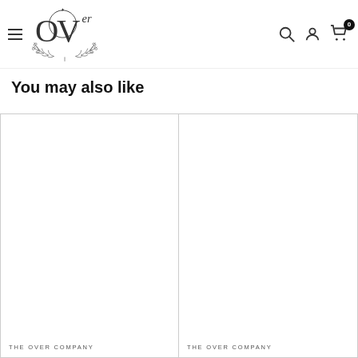OVer Company navigation header with logo, hamburger menu, search icon, account icon, and cart icon (0 items)
You may also like
[Figure (other): Empty product card placeholder for The Over Company product]
THE OVER COMPANY
[Figure (other): Empty product card placeholder for The Over Company product]
THE OVER COMPANY